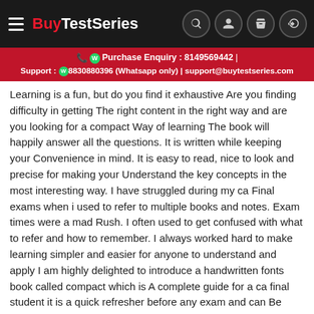BuyTestSeries
Purchase Enquiry : 8149569442 | Support : 8830880396 (Whatsapp only) | support@buytestseries.com
Learning is a fun, but do you find it exhaustive Are you finding difficulty in getting The right content in the right way and are you looking for a compact Way of learning The book will happily answer all the questions. It is written while keeping your Convenience in mind. It is easy to read, nice to look and precise for making your Understand the key concepts in the most interesting way. I have struggled during my ca Final exams when i used to refer to multiple books and notes. Exam times were a mad Rush. I often used to get confused with what to refer and how to remember. I always worked hard to make learning simpler and easier for anyone to understand and apply I am highly delighted to introduce a handwritten fonts book called compact which is A complete guide for a ca final student it is a quick refresher before any exam and can Be great friend in celebrating your success with you I started writing it, and it took 40 days to complete it. I recognize the efforts of every Person who helped me in bringing this idea alive I dedicate this book to each student who is aspiring to become a charted accountant And contribute in the growth of our country COMPACTis a color- coded book for easy understanding